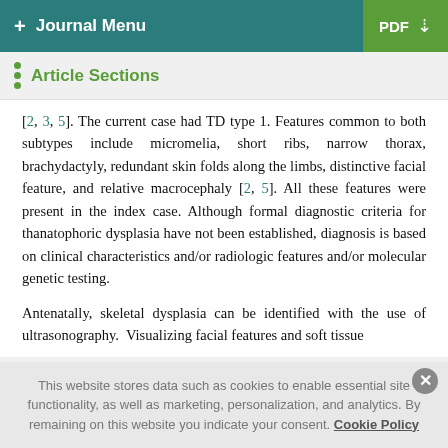+ Journal Menu | PDF
Article Sections
[2, 3, 5]. The current case had TD type 1. Features common to both subtypes include micromelia, short ribs, narrow thorax, brachydactyly, redundant skin folds along the limbs, distinctive facial feature, and relative macrocephaly [2, 5]. All these features were present in the index case. Although formal diagnostic criteria for thanatophoric dysplasia have not been established, diagnosis is based on clinical characteristics and/or radiologic features and/or molecular genetic testing.
Antenatally, skeletal dysplasia can be identified with the use of ultrasonography. Visualizing facial features and soft tissue
This website stores data such as cookies to enable essential site functionality, as well as marketing, personalization, and analytics. By remaining on this website you indicate your consent. Cookie Policy